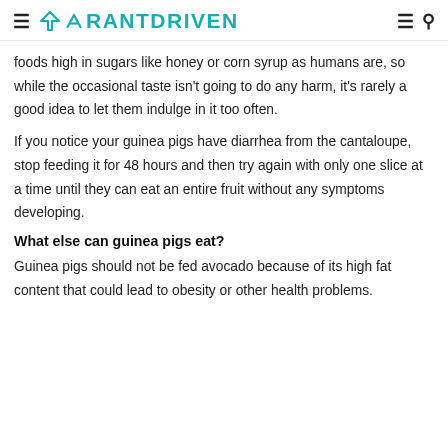RANTDRIVEN
foods high in sugars like honey or corn syrup as humans are, so while the occasional taste isn't going to do any harm, it's rarely a good idea to let them indulge in it too often.
If you notice your guinea pigs have diarrhea from the cantaloupe, stop feeding it for 48 hours and then try again with only one slice at a time until they can eat an entire fruit without any symptoms developing.
What else can guinea pigs eat?
Guinea pigs should not be fed avocado because of its high fat content that could lead to obesity or other health problems.